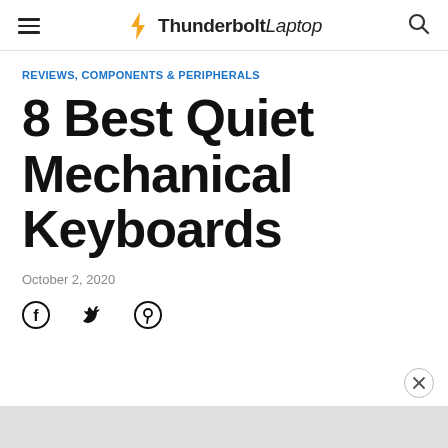ThunderBoltLaptop
REVIEWS, COMPONENTS & PERIPHERALS
8 Best Quiet Mechanical Keyboards
October 2, 2020
[Figure (infographic): Social share icons: Facebook, Twitter, Pinterest]
[Figure (other): Advertisement close button (X) and grey ad bar at bottom]